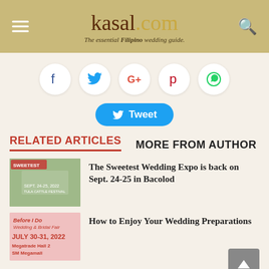kasal.com — The essential Filipino wedding guide.
[Figure (infographic): Social share buttons: Facebook, Twitter, Google+, Pinterest, WhatsApp — circular white buttons on beige background]
[Figure (infographic): Tweet button in blue rounded rectangle with Twitter bird icon]
RELATED ARTICLES
MORE FROM AUTHOR
[Figure (photo): Thumbnail photo for The Sweetest Wedding Expo article — couple at outdoor wedding setting with event text overlay]
The Sweetest Wedding Expo is back on Sept. 24-25 in Bacolod
[Figure (photo): Thumbnail photo for Before I Do Wedding & Bridal Fair — July 30-31, 2022, Megatrade Hall 2, SM Megamall]
How to Enjoy Your Wedding Preparations
[Figure (photo): Partial thumbnail for Tagaytay Wedding Ideas article]
Tagaytay Wedding Ideas